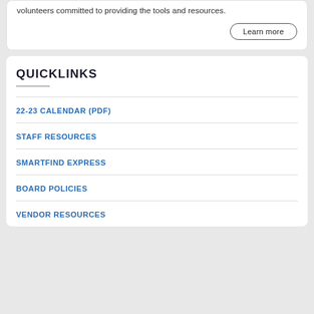volunteers committed to providing the tools and resources.
Learn more
QUICKLINKS
22-23 CALENDAR (PDF)
STAFF RESOURCES
SMARTFIND EXPRESS
BOARD POLICIES
VENDOR RESOURCES